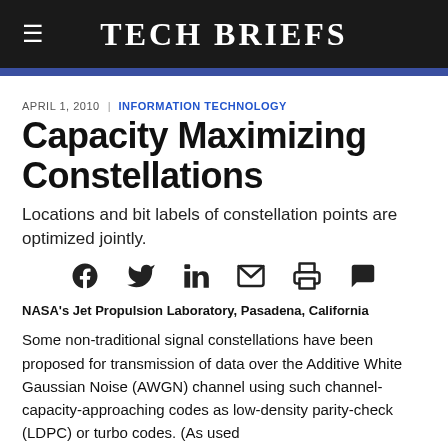TECH BRIEFS
APRIL 1, 2010  |  INFORMATION TECHNOLOGY
Capacity Maximizing Constellations
Locations and bit labels of constellation points are optimized jointly.
[Figure (other): Social media sharing icons: Facebook, Twitter, LinkedIn, Email, Print, Comment]
NASA's Jet Propulsion Laboratory, Pasadena, California
Some non-traditional signal constellations have been proposed for transmission of data over the Additive White Gaussian Noise (AWGN) channel using such channel-capacity-approaching codes as low-density parity-check (LDPC) or turbo codes. (As used